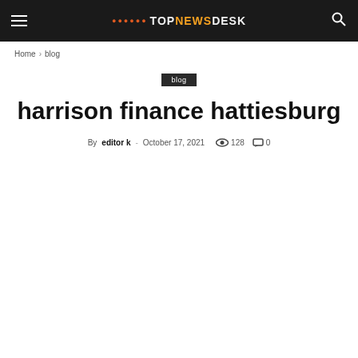TOPNEWSDESK
Home › blog
blog
harrison finance hattiesburg
By editor k - October 17, 2021  128  0